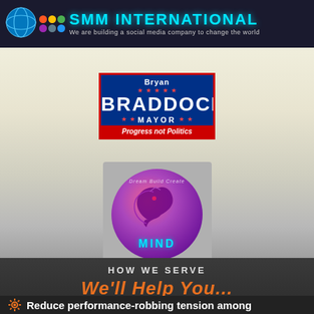[Figure (logo): SMM International banner with globe icon, social media icons, and tagline 'We are building a social media company to change the world']
[Figure (logo): Bryan Braddock Mayor campaign badge with blue and red design, stars, and 'Progress not Politics' tagline]
[Figure (logo): Dragon circle logo with MIND text in cyan on grey square background]
HOW WE SERVE
We'll Help You...
Reduce performance-robbing tension among